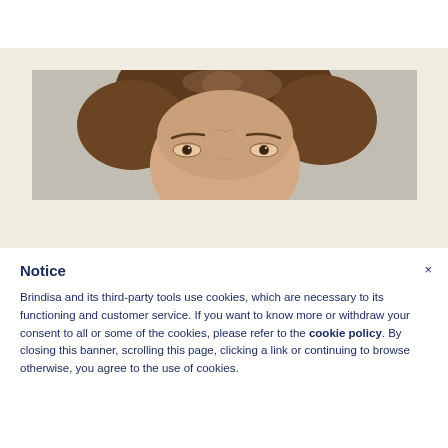[Figure (photo): Partial photo of a woman with brown hair against a neutral grey background, showing the top half of her face (forehead, eyes, and top of nose visible)]
Notice
Brindisa and its third-party tools use cookies, which are necessary to its functioning and customer service. If you want to know more or withdraw your consent to all or some of the cookies, please refer to the cookie policy. By closing this banner, scrolling this page, clicking a link or continuing to browse otherwise, you agree to the use of cookies.